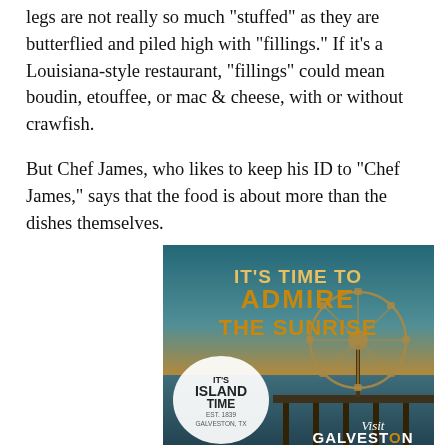legs are not really so much "stuffed" as they are butterflied and piled high with "fillings." If it's a Louisiana-style restaurant, "fillings" could mean boudin, etouffee, or mac & cheese, with or without crawfish.
But Chef James, who likes to keep his ID to "Chef James," says that the food is about more than the dishes themselves.
[Figure (photo): Advertisement for Visit Galveston featuring a sunset/sunrise scene with a Ferris wheel on a pier, text reading 'IT'S TIME TO ADMIRE THE SUNRISE' and a badge reading 'IT'S ISLAND TIME EST. 1839 GALVESTON, TX'. At the bottom it says 'Visit GALVESTON'.]